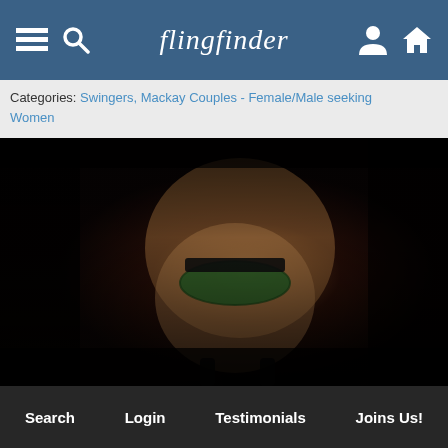flingfinder
Categories: Swingers, Mackay Couples - Female/Male seeking Women
[Figure (photo): Photograph of a person wearing green lace lingerie and black stockings, posed on dark fur, dimly lit atmospheric shot]
Search  Login  Testimonials  Joins Us!